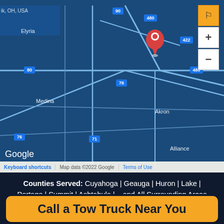[Figure (map): Google Maps screenshot showing northeastern Ohio area including Cleveland, Akron, Medina, Warren, Youngstown, New Castle, Alliance areas with highway routes 76, 80, 480, 422, 71, 77 visible. A red map pin marker is placed near Cleveland/Parma area. Zoom controls (+/-) visible on right side. Google logo bottom left. Map footer shows 'Keyboard shortcuts | Map data ©2022 Google | Terms of Use']
Counties Served: Cuyahoga | Geauga | Huron | Lake | Portage | Summit | Ashtabula | ...and All Surrounding Areas
Norwalk
124 B Cleveland Rd.
Norwalk, OH 44857
Call a Tow Truck Near You